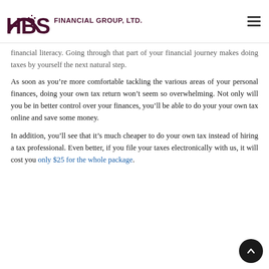HBS FINANCIAL GROUP, LTD.
financial literacy. Going through that part of your financial journey makes doing taxes by yourself the next natural step.
As soon as you’re more comfortable tackling the various areas of your personal finances, doing your own tax return won’t seem so overwhelming. Not only will you be in better control over your finances, you’ll be able to do your your own tax online and save some money.
In addition, you’ll see that it’s much cheaper to do your own tax instead of hiring a tax professional. Even better, if you file your taxes electronically with us, it will cost you only $25 for the whole package.